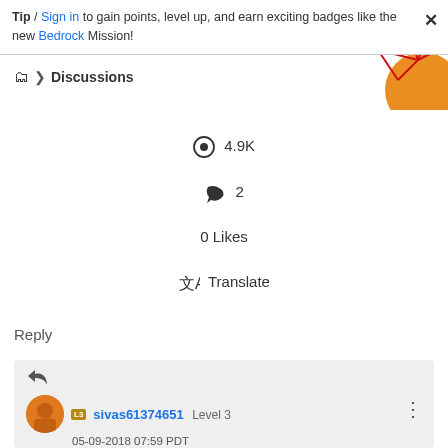Tip / Sign in to gain points, level up, and earn exciting badges like the new Bedrock Mission!
[Figure (illustration): Decorative geometric network graphic with red lines and orange circle in top-right corner]
📁 > Discussions
👁 4.9K
↩ 2
0 Likes
🔤 Translate
Reply
↩
sivas61374651 Level 3
05-09-2018 07:59 PDT
In response to smacdonald2008
Hi Scott,